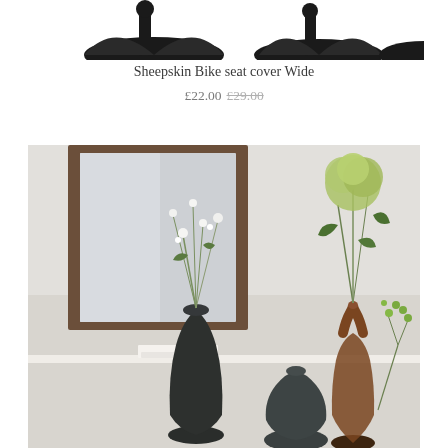[Figure (photo): Black bicycle seat covers/saddle accessories viewed from above on white background]
Sheepskin Bike seat cover Wide
£22.00 £29.00 (strikethrough)
[Figure (photo): Styled interior photo showing three vases — dark matte black, amber glass, and dark green ceramic — with white flowers and green foliage, in front of a wood-framed mirror on a light grey wall]